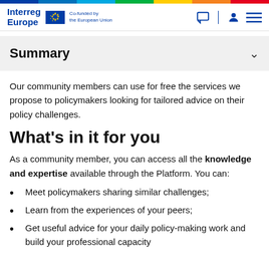Interreg Europe | Co-funded by the European Union
Summary
Our community members can use for free the services we propose to policymakers looking for tailored advice on their policy challenges.
What's in it for you
As a community member, you can access all the knowledge and expertise available through the Platform. You can:
Meet policymakers sharing similar challenges;
Learn from the experiences of your peers;
Get useful advice for your daily policy-making work and build your professional capacity